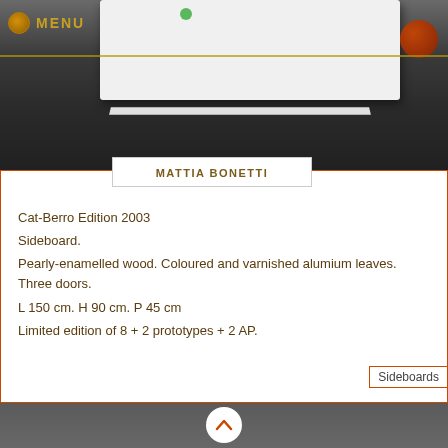[Figure (photo): Photo of a white sideboard furniture piece on a dark grey floor background, with green and red circular elements visible]
MENU
MATTIA BONETTI
Cat-Berro Edition 2003
Sideboard.
Pearly-enamelled wood. Coloured and varnished alumium leaves.
Three doors.
L 150 cm. H 90 cm. P 45 cm
Limited edition of 8 + 2 prototypes + 2 AP.
Sideboards
[Figure (other): Dark grey area with white circle containing orange/red upward chevron arrow]